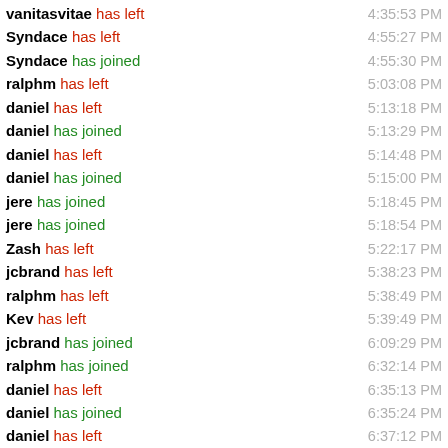vanitasvitae has left 4:35:53 PM
Syndace has left 4:55:27 PM
Syndace has joined 4:55:30 PM
ralphm has left 5:03:08 PM
daniel has left 5:13:18 PM
daniel has joined 5:13:29 PM
daniel has left 5:14:48 PM
daniel has joined 5:15:00 PM
jere has joined 5:18:45 PM
jere has joined 5:18:54 PM
Zash has left 5:22:17 PM
jcbrand has left 5:38:23 PM
ralphm has left 5:38:49 PM
Kev has left 5:39:49 PM
jcbrand has joined 6:09:29 PM
ralphm has joined 6:32:14 PM
daniel has left 6:35:13 PM
daniel has joined 6:35:24 PM
daniel has left 6:37:12 PM
daniel has joined 6:37:23 PM
ralphm has left 6:38:36 PM
Kev has joined 6:52:23 PM
ralphm has left 7:11:00 PM
jere has joined 7:13:33 PM
jere has joined 7:13:38 PM